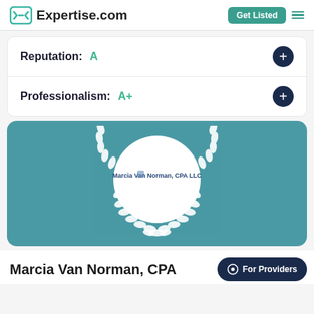Expertise.com
Reputation: A
Professionalism: A+
[Figure (logo): Expertise.com profile badge for Marcia Van Norman, CPA with laurel wreath on teal background]
Marcia Van Norman, CPA